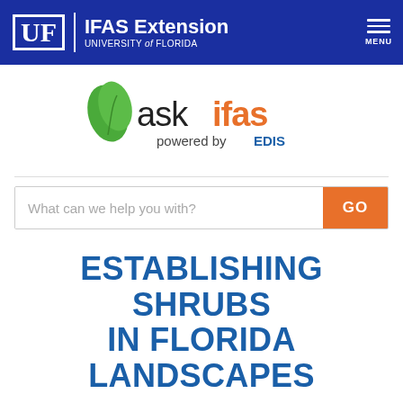UF | IFAS Extension UNIVERSITY of FLORIDA
[Figure (logo): askifas powered by EDIS logo with green leaf icon, 'ask' in dark text, 'ifas' in orange, 'powered by EDIS' in dark gray]
What can we help you with?
ESTABLISHING SHRUBS IN FLORIDA LANDSCAPES
Edward F. Gilman, Amy L. Shober, Kimberly A. Moore, Christine Wiese, Maria Paz, and S. Michelle Scheiber